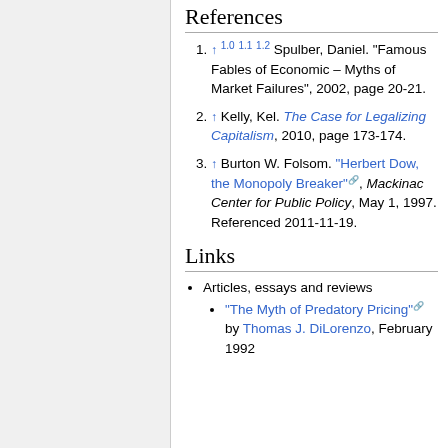References
↑ 1.0 1.1 1.2 Spulber, Daniel. "Famous Fables of Economic – Myths of Market Failures", 2002, page 20-21.
↑ Kelly, Kel. The Case for Legalizing Capitalism, 2010, page 173-174.
↑ Burton W. Folsom. "Herbert Dow, the Monopoly Breaker", Mackinac Center for Public Policy, May 1, 1997. Referenced 2011-11-19.
Links
Articles, essays and reviews
"The Myth of Predatory Pricing" by Thomas J. DiLorenzo, February 1992